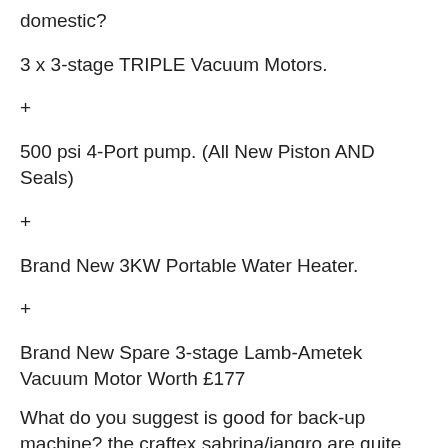domestic?
3 x 3-stage TRIPLE Vacuum Motors.
+
500 psi 4-Port pump. (All New Piston AND Seals)
+
Brand New 3KW Portable Water Heater.
+
Brand New Spare 3-stage Lamb-Ametek Vacuum Motor Worth £177
What do you suggest is good for back-up machine? the craftex sabrina/jangro are quite